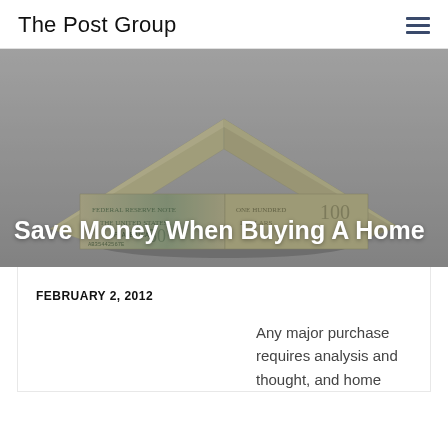The Post Group
[Figure (photo): House made of US dollar bills against a grey background, symbolizing home buying and money.]
Save Money When Buying A Home
FEBRUARY 2, 2012
Any major purchase requires analysis and thought, and home